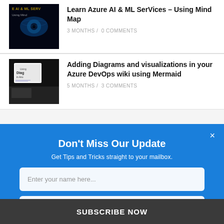[Figure (photo): Thumbnail image showing Azure AI & ML Services book cover with eye graphic]
Learn Azure AI & ML SerVices – Using Mind Map
3 MONTHS / 0 COMMENTS
[Figure (photo): Thumbnail image showing Azure DevOps wiki Mermaid diagram article cover]
Adding Diagrams and visualizations in your Azure DevOps wiki using Mermaid
5 MONTHS / 3 COMMENTS
Don't Miss Our Update
Get Tips and Tricks straight to your mailbox.
Enter your name here...
Enter your email here...
We promise not to spam you. You can unsubscribe at any time.
SUBSCRIBE NOW